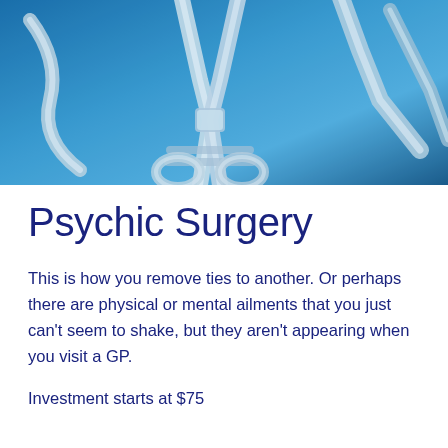[Figure (photo): Close-up photo of surgical/medical instruments (clamps, forceps, scissors) on a blue background]
Psychic Surgery
This is how you remove ties to another. Or perhaps there are physical or mental ailments that you just can't seem to shake, but they aren't appearing when you visit a GP.
Investment starts at $75